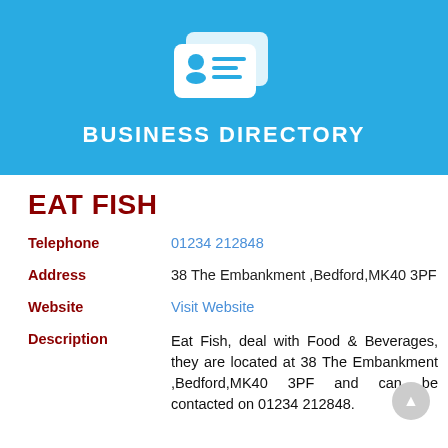[Figure (logo): Business directory header banner with white ID card icon and text 'BUSINESS DIRECTORY' on blue background]
EAT FISH
Telephone: 01234 212848
Address: 38 The Embankment ,Bedford,MK40 3PF
Website: Visit Website
Description: Eat Fish, deal with Food & Beverages, they are located at 38 The Embankment ,Bedford,MK40 3PF and can be contacted on 01234 212848.